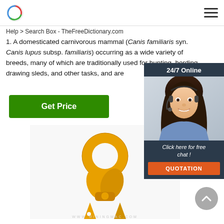Help > Search Box - TheFreeDictionary.com
1. A domesticated carnivorous mammal (Canis familiaris syn. Canis lupus subsp. familiaris) occurring as a wide variety of breeds, many of which are traditionally used for hunting, herding, drawing sleds, and other tasks, and are
[Figure (other): Green 'Get Price' button]
[Figure (photo): Yellow metal hardware tool (lifting or clamping device) on white background with watermark text at bottom]
[Figure (photo): 24/7 Online chat widget with woman wearing headset, 'Click here for free chat!' text, and orange QUOTATION button]